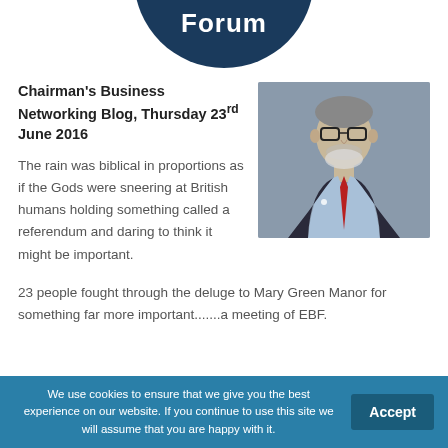[Figure (logo): Dark navy blue semicircle logo with the word 'Forum' in white bold text]
Chairman's Business Networking Blog, Thursday 23rd June 2016
[Figure (photo): Portrait photo of an elderly man wearing glasses, a dark suit jacket, and a red tie, against a grey background]
The rain was biblical in proportions as if the Gods were sneering at British humans holding something called a referendum and daring to think it might be important.
23 people fought through the deluge to Mary Green Manor for something far more important.......a meeting of EBF.
We use cookies to ensure that we give you the best experience on our website. If you continue to use this site we will assume that you are happy with it.